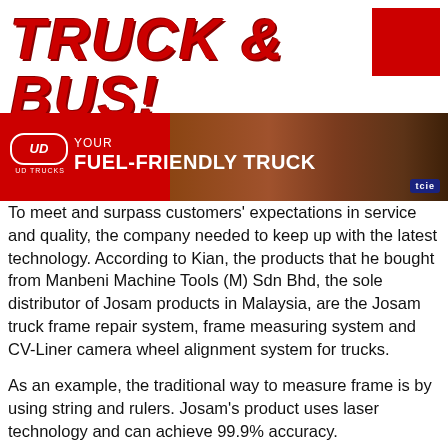TRUCK & BUS!
[Figure (infographic): UD Trucks advertisement banner with red background on left showing UD logo and tagline 'YOUR FUEL-FRIENDLY TRUCK', and a photo of a truck with cargo containers on the right. TCIE badge in bottom right corner.]
To meet and surpass customers' expectations in service and quality, the company needed to keep up with the latest technology. According to Kian, the products that he bought from Manbeni Machine Tools (M) Sdn Bhd, the sole distributor of Josam products in Malaysia, are the Josam truck frame repair system, frame measuring system and CV-Liner camera wheel alignment system for trucks.
As an example, the traditional way to measure frame is by using string and rulers. Josam's product uses laser technology and can achieve 99.9% accuracy.
“We chose Josam products because they are lightweight as all their materials are made from aluminium. Beside that, they are easy to use and very convenient. Josam products